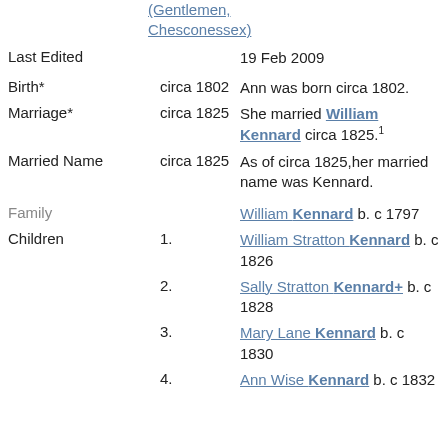(Gentlemen, Chesconessex)
Last Edited	19 Feb 2009
Birth*	circa 1802	Ann was born circa 1802.
Marriage*	circa 1825	She married William Kennard circa 1825.1
Married Name	circa 1825	As of circa 1825,her married name was Kennard.
Family		William Kennard b. c 1797
Children	1.	William Stratton Kennard b. c 1826
2.	Sally Stratton Kennard+ b. c 1828
3.	Mary Lane Kennard b. c 1830
4.	Ann Wise Kennard b. c 1832